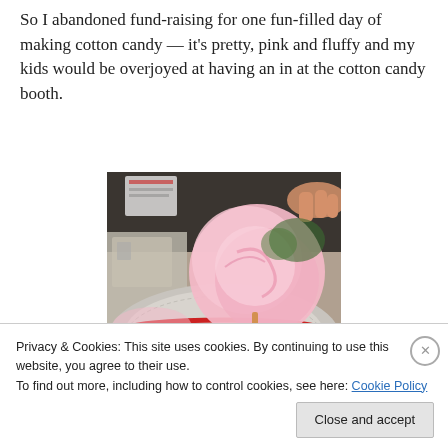So I abandoned fund-raising for one fun-filled day of making cotton candy — it's pretty, pink and fluffy and my kids would be overjoyed at having an in at the cotton candy booth.
[Figure (photo): A photograph of pink cotton candy being made on a spinning cotton candy machine bowl, with pink spun sugar visible and a metallic bowl.]
Privacy & Cookies: This site uses cookies. By continuing to use this website, you agree to their use.
To find out more, including how to control cookies, see here: Cookie Policy